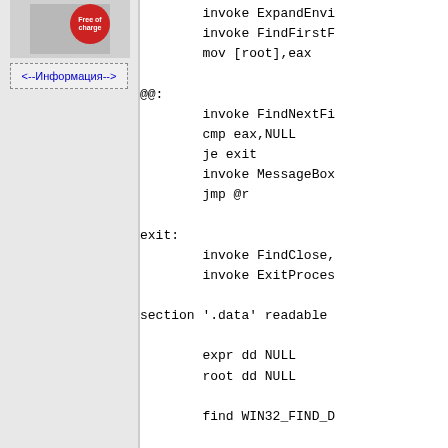[Figure (screenshot): Thumbnail image with a red 'Free of charge' badge in the top-left sidebar panel]
<--Информация-->
invoke ExpandEnvi
    invoke FindFirstF
    mov [root],eax
@@:
    invoke FindNextFi
    cmp eax,NULL
    je exit
    invoke MessageBox
    jmp @r
exit:
    invoke FindClose,
    invoke ExitProces

section '.data' readable

    expr dd NULL
    root dd NULL

    find WIN32_FIND_D

section '.idata' import r

    library kernel32,
    include '%fasm%/a
    include '%fasm%/a

section '.rsrc' resource

    directory RT_MANI